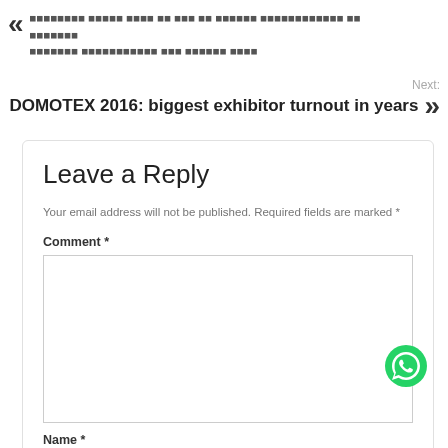« [previous article text in foreign script]
Next: DOMOTEX 2016: biggest exhibitor turnout in years »
Leave a Reply
Your email address will not be published. Required fields are marked *
Comment *
Name *